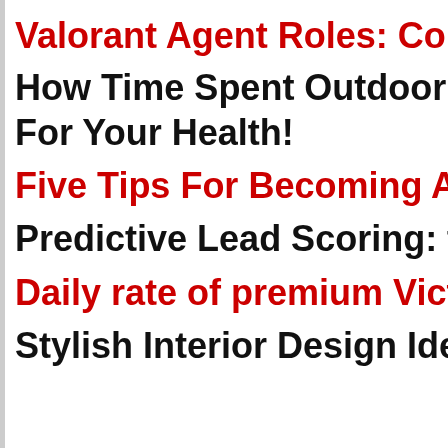Valorant Agent Roles: Con…
How Time Spent Outdoor … For Your Health!
Five Tips For Becoming A …
Predictive Lead Scoring: th…
Daily rate of premium Victo…
Stylish Interior Design Idea…